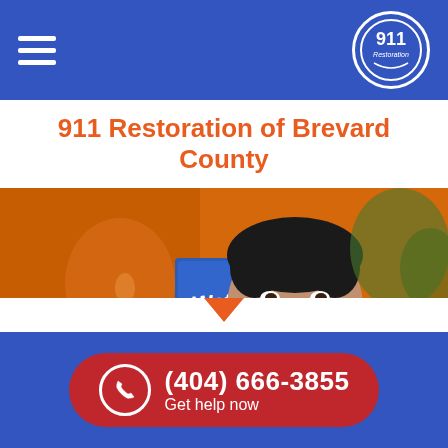911 Restoration - navigation header with hamburger menu and logo
911 Restoration of Brevard County
[Figure (photo): A smiling 911 Restoration technician in a dark polo shirt standing in front of an orange company van with a blue sign reading 'Water, Fire &...']
(404) 666-3855 Get help now